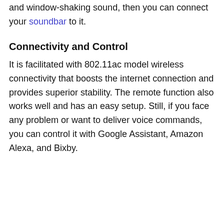and window-shaking sound, then you can connect your soundbar to it.
Connectivity and Control
It is facilitated with 802.11ac model wireless connectivity that boosts the internet connection and provides superior stability. The remote function also works well and has an easy setup. Still, if you face any problem or want to deliver voice commands, you can control it with Google Assistant, Amazon Alexa, and Bixby.